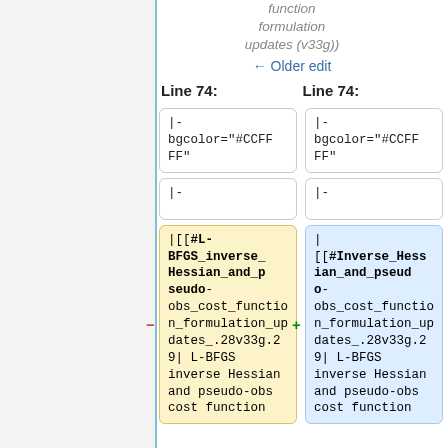function formulation updates (v33g))
← Older edit
Line 74:
Line 74:
|- bgcolor="#CCFFFF"
|- bgcolor="#CCFFFF"
|-
|-
|[[#L-BFGS_inverse_Hessian_and_pseudo-obs_cost_function_formulation_updates_.28v33g.29| L-BFGS inverse Hessian and pseudo-obs cost function
| [[#Inverse_Hessian_and_pseudo-obs_cost_function_formulation_updates_.28v33g.29| L-BFGS inverse Hessian and pseudo-obs cost function